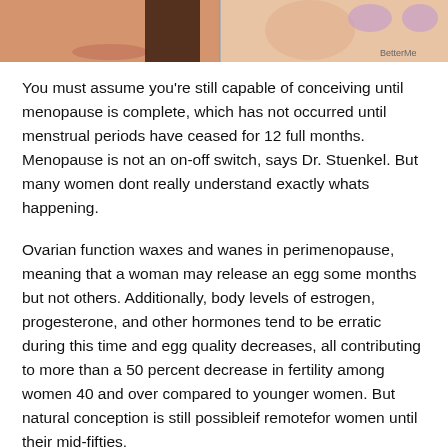[Figure (illustration): Illustration/comic-style image strip showing two panels: left panel with a person's face and dark hair, right panel with stylized face, with BetterMe watermark]
You must assume you're still capable of conceiving until menopause is complete, which has not occurred until menstrual periods have ceased for 12 full months. Menopause is not an on-off switch, says Dr. Stuenkel. But many women dont really understand exactly whats happening.
Ovarian function waxes and wanes in perimenopause, meaning that a woman may release an egg some months but not others. Additionally, body levels of estrogen, progesterone, and other hormones tend to be erratic during this time and egg quality decreases, all contributing to more than a 50 percent decrease in fertility among women 40 and over compared to younger women. But natural conception is still possibleif remotefor women until their mid-fifties.